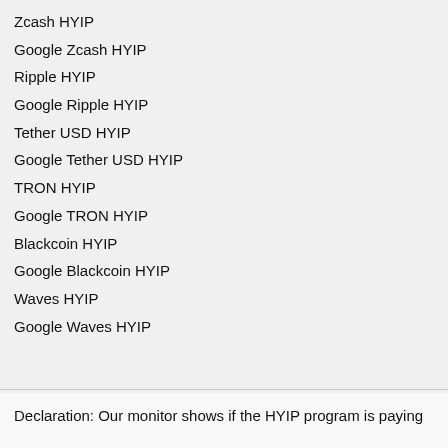Zcash HYIP
Google Zcash HYIP
Ripple HYIP
Google Ripple HYIP
Tether USD HYIP
Google Tether USD HYIP
TRON HYIP
Google TRON HYIP
Blackcoin HYIP
Google Blackcoin HYIP
Waves HYIP
Google Waves HYIP
Declaration: Our monitor shows if the HYIP program is paying